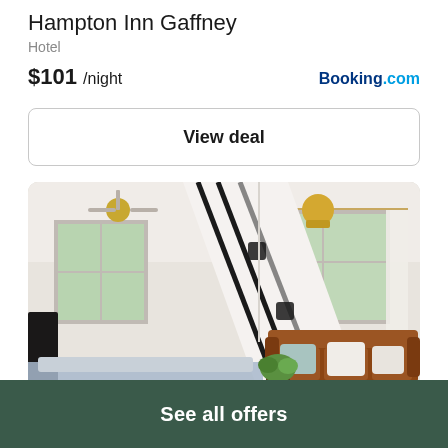Hampton Inn Gaffney
Hotel
$101 /night
Booking.com
View deal
[Figure (photo): Interior hotel room photo showing a bright room with white walls, a brown leather sofa with pillows, ceiling fans, large windows with white curtains, green plants, and a murphy bed folded down from the wall.]
See all offers